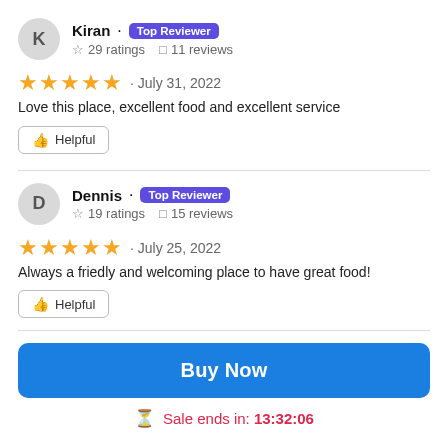Kiran · Top Reviewer
☆ 29 ratings  ◻ 11 reviews
★★★★★ · July 31, 2022
Love this place, excellent food and excellent service
👍 Helpful
Dennis · Top Reviewer
☆ 19 ratings  ◻ 15 reviews
★★★★★ · July 25, 2022
Always a friedly and welcoming place to have great food!
👍 Helpful
Buy Now
Sale ends in: 13:32:06